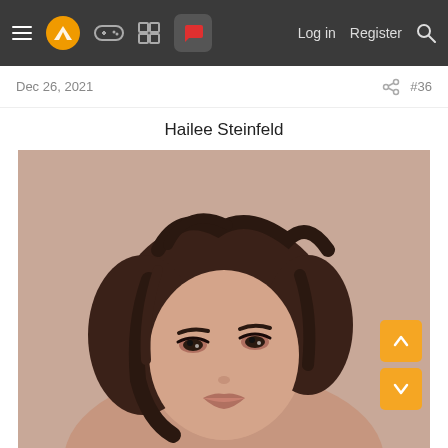Navigation bar with hamburger menu, logo, game controller icon, grid icon, chat icon (active), Log in, Register, Search
Dec 26, 2021
#36
Hailee Steinfeld
[Figure (photo): Close-up portrait photo of Hailee Steinfeld with tousled dark brown hair, wearing subtle eye makeup, against a warm beige/blush background. Her face is turned slightly, looking toward the camera.]